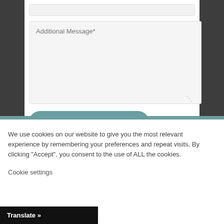[Figure (screenshot): Web contact form with Additional Message textarea and Send Message button on dark background]
We use cookies on our website to give you the most relevant experience by remembering your preferences and repeat visits. By clicking “Accept”, you consent to the use of ALL the cookies.
Cookie settings
Translate »